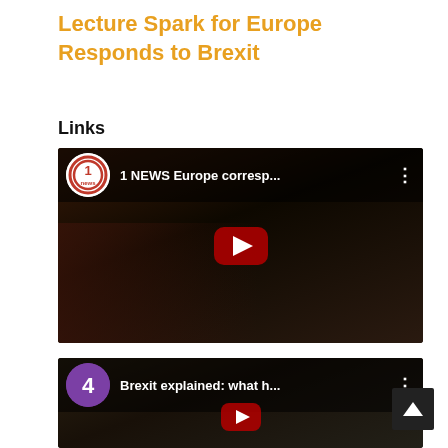Lecture Spark for Europe Responds to Brexit
Links
[Figure (screenshot): YouTube video thumbnail for '1 NEWS Europe corresp...' with 1 NEWS channel logo (red circular logo) and a dark-toned image of a woman in a red jacket with people in background. Red play button visible.]
[Figure (screenshot): YouTube video thumbnail for 'Brexit explained: what h...' with Channel 4 purple circular logo and a dark animated/illustrated image with 'WHAT THE #@!' text. Red play button visible.]